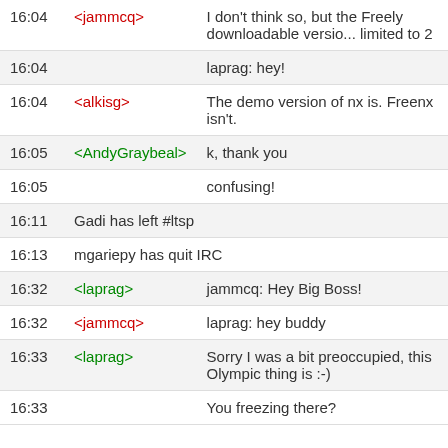| Time | Nick | Message |
| --- | --- | --- |
| 16:04 | <jammcq> | I don't think so, but the Freely downloadable versio... limited to 2 |
| 16:04 |  | laprag: hey! |
| 16:04 | <alkisg> | The demo version of nx is. Freenx isn't. |
| 16:05 | <AndyGraybeal> | k, thank you |
| 16:05 |  | confusing! |
| 16:11 | Gadi has left #ltsp |  |
| 16:13 | mgariepy has quit IRC |  |
| 16:32 | <laprag> | jammcq: Hey Big Boss! |
| 16:32 | <jammcq> | laprag: hey buddy |
| 16:33 | <laprag> | Sorry I was a bit preoccupied, this Olympic thing is :-) |
| 16:33 |  | You freezing there? |